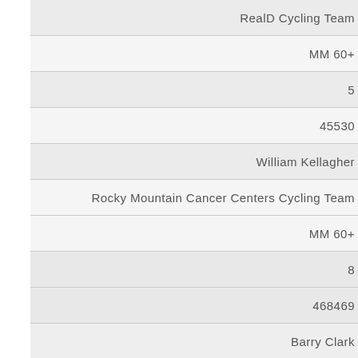| RealD Cycling Team |
| MM 60+ |
| 5 |
| 45530 |
| William Kellagher |
| Rocky Mountain Cancer Centers Cycling Team |
| MM 60+ |
| 8 |
| 468469 |
| Barry Clark |